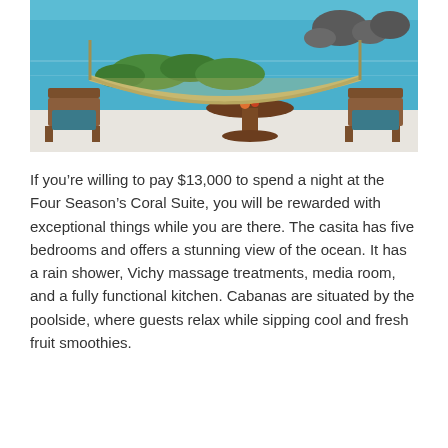[Figure (photo): Outdoor terrace with a hammock, wooden chairs and a round table with fruit, overlooking a turquoise ocean with rocky coastline and lush greenery.]
If you're willing to pay $13,000 to spend a night at the Four Season's Coral Suite, you will be rewarded with exceptional things while you are there. The casita has five bedrooms and offers a stunning view of the ocean. It has a rain shower, Vichy massage treatments, media room, and a fully functional kitchen. Cabanas are situated by the poolside, where guests relax while sipping cool and fresh fruit smoothies.